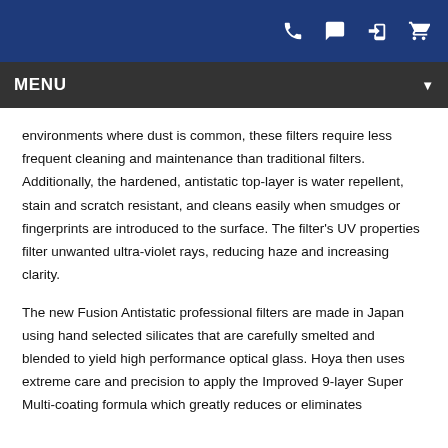[navigation icons: phone, chat, login, cart]
MENU
environments where dust is common, these filters require less frequent cleaning and maintenance than traditional filters. Additionally, the hardened, antistatic top-layer is water repellent, stain and scratch resistant, and cleans easily when smudges or fingerprints are introduced to the surface. The filter's UV properties filter unwanted ultra-violet rays, reducing haze and increasing clarity.
The new Fusion Antistatic professional filters are made in Japan using hand selected silicates that are carefully smelted and blended to yield high performance optical glass. Hoya then uses extreme care and precision to apply the Improved 9-layer Super Multi-coating formula which greatly reduces or eliminates